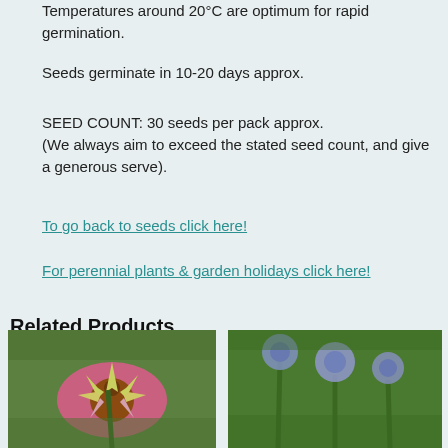Temperatures around 20°C are optimum for rapid germination.
Seeds germinate in 10-20 days approx.
SEED COUNT: 30 seeds per pack approx.
(We always aim to exceed the stated seed count, and give a generous serve).
To go back to seeds click here!
For perennial plants & garden holidays click here!
Related Products
[Figure (photo): Pink echinacea / coneflower close-up with green stem and petals]
[Figure (photo): Blue/purple globe thistle (echinops) flowers with green stems]